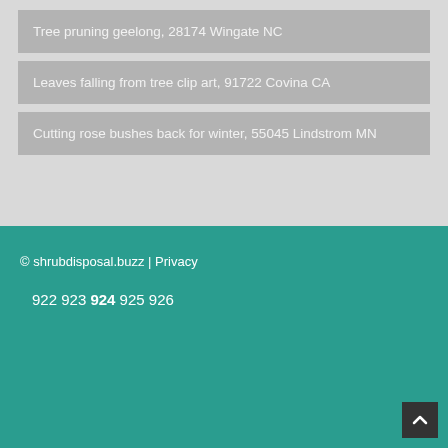Tree pruning geelong, 28174 Wingate NC
Leaves falling from tree clip art, 91722 Covina CA
Cutting rose bushes back for winter, 55045 Lindstrom MN
© shrubdisposal.buzz | Privacy
922 923 924 925 926